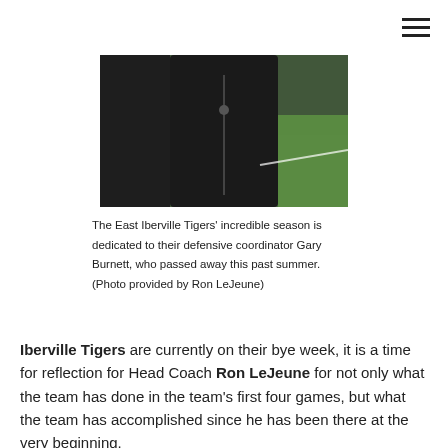[Figure (photo): A person wearing a dark zip-up jacket standing on a football field with green grass visible in the background.]
The East Iberville Tigers' incredible season is dedicated to their defensive coordinator Gary Burnett, who passed away this past summer. (Photo provided by Ron LeJeune)
Iberville Tigers are currently on their bye week, it is a time for reflection for Head Coach Ron LeJeune for not only what the team has done in the team's first four games, but what the team has accomplished since he has been there at the very beginning.